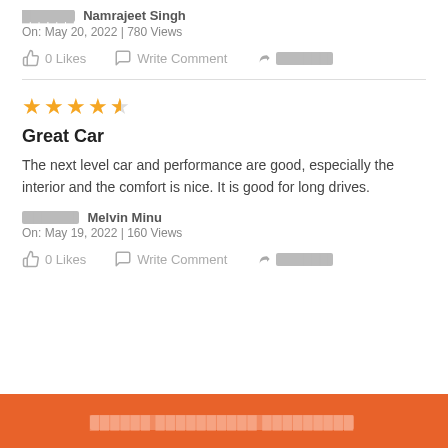██████ Namrajeet Singh
On: May 20, 2022 | 780 Views
0 Likes   Write Comment   ██████
★★★★½
Great Car
The next level car and performance are good, especially the interior and the comfort is nice. It is good for long drives.
██████ Melvin Minu
On: May 19, 2022 | 160 Views
0 Likes   Write Comment   ██████
██████ ██████████ █████████